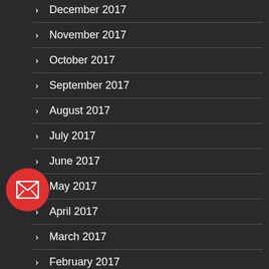December 2017
November 2017
October 2017
September 2017
August 2017
July 2017
June 2017
May 2017
April 2017
March 2017
February 2017
[Figure (illustration): Red circular email/envelope icon button overlaid on the left side of the list]